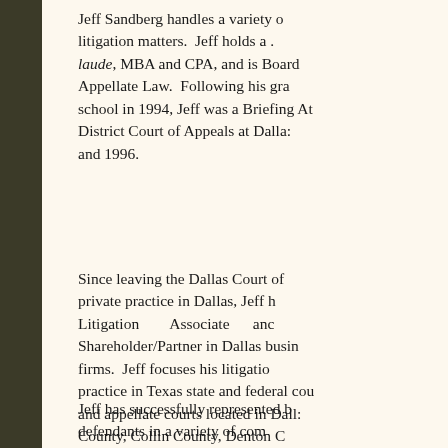Jeff Sandberg handles a variety of litigation matters. Jeff holds a JD cum laude, MBA and CPA, and is Board Certified in Appellate Law. Following his graduation from law school in 1994, Jeff was a Briefing Attorney at the District Court of Appeals at Dallas between 1994 and 1996.
Since leaving the Dallas Court of Appeals for private practice in Dallas, Jeff has been a Litigation Associate and Shareholder/Partner in Dallas business litigation firms. Jeff focuses his litigation practice in Texas state and federal courts and appellate courts located in Dallas County, Collin County, Denton County and Harris County.
Jeff has successfully represented both plaintiffs and defendants in a variety of commercial litigation and appellate matters.